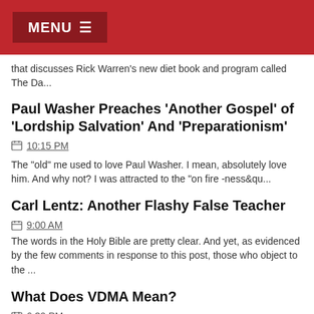MENU
that discusses Rick Warren's new diet book and program called The Da...
Paul Washer Preaches 'Another Gospel' of 'Lordship Salvation' And 'Preparationism'
10:15 PM
The "old" me used to love Paul Washer. I mean, absolutely love him. And why not? I was attracted to the "on fire -ness&qu...
Carl Lentz: Another Flashy False Teacher
9:00 AM
The words in the Holy Bible are pretty clear. And yet, as evidenced by the few comments in response to this post, those who object to the ...
What Does VDMA Mean?
6:30 PM
I saw "VDMA" on a Lutheran mug recently and had no idea what it meant. So, this brief entry is for you Lutherans who have been ...
No, Mahatma Gandhi Did Not Like Our Christ